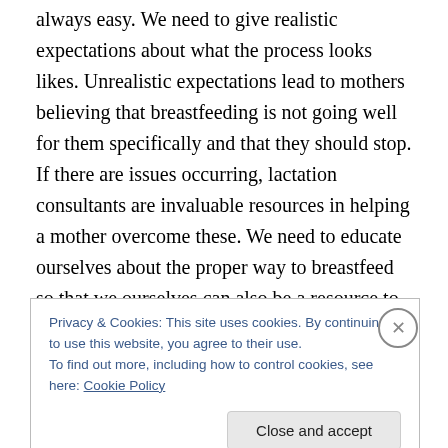always easy. We need to give realistic expectations about what the process looks likes. Unrealistic expectations lead to mothers believing that breastfeeding is not going well for them specifically and that they should stop. If there are issues occurring, lactation consultants are invaluable resources in helping a mother overcome these. We need to educate ourselves about the proper way to breastfeed so that we ourselves can also be a resource to our mothers. Finally, we need to promote breastfeeding by guiding our mothers to resources like free breast pumps from WIC instead of free formula.
Privacy & Cookies: This site uses cookies. By continuing to use this website, you agree to their use.
To find out more, including how to control cookies, see here: Cookie Policy
Close and accept